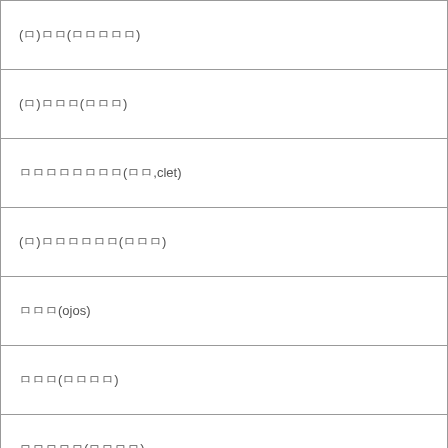| (ㅁ)ㅁㅁ(ㅁㅁㅁㅁㅁ) |
| (ㅁ)ㅁㅁㅁ(ㅁㅁㅁ) |
| ㅁㅁㅁㅁㅁㅁㅁㅁ(ㅁㅁ,clet) |
| (ㅁ)ㅁㅁㅁㅁㅁㅁ(ㅁㅁㅁ) |
| ㅁㅁㅁ(ojos) |
| ㅁㅁㅁ(ㅁㅁㅁㅁ) |
| ㅁㅁㅁㅁㅁ(ㅁㅁㅁㅁ) |
| (ㅁ)ㅁㅁㅁㅁㅁㅁ(ㅁㅁㅁ1) |
| (ㅁ)ㅁㅁㅁㅁㅁㅁ(ㅁㅁㅁ) |